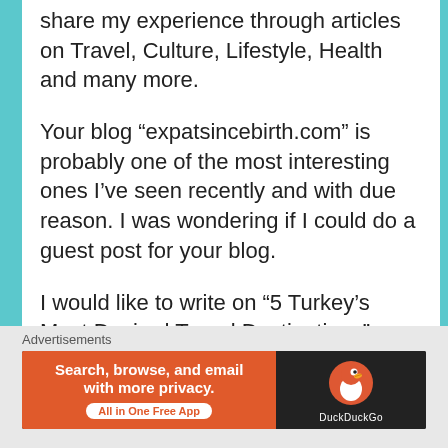share my experience through articles on Travel, Culture, Lifestyle, Health and many more.
Your blog “expatsincebirth.com” is probably one of the most interesting ones I’ve seen recently and with due reason. I was wondering if I could do a guest post for your blog.
I would like to write on “5 Turkey’s Most Desired Travel Destinations” or any other suggested topic for your blog.
It would be an honor to see my article published on your site.
I look forward to hearing from you.
Advertisements
[Figure (infographic): DuckDuckGo advertisement banner: orange left section with text 'Search, browse, and email with more privacy. All in One Free App' and dark right section with DuckDuckGo duck logo and brand name.]